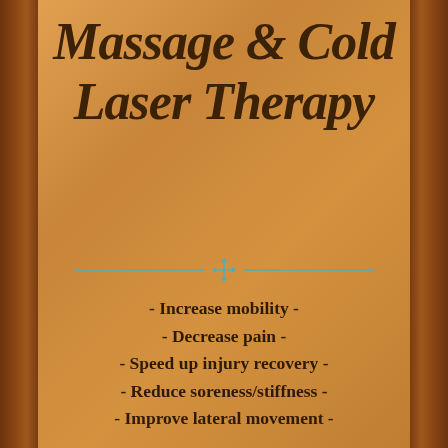Massage & Cold Laser Therapy
- Increase mobility -
- Decrease pain -
- Speed up injury recovery -
- Reduce soreness/stiffness -
- Improve lateral movement -